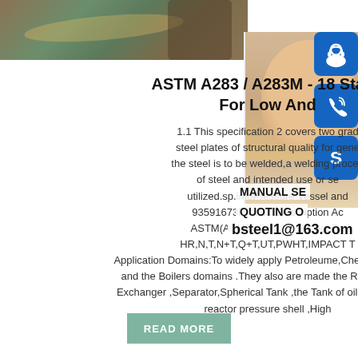[Figure (photo): Top banner showing steel plates in a manufacturing or industrial setting, with a customer service representative overlay on the right side along with blue icon buttons for contact (headset, phone, Skype)]
ASTM A283 / A283M - 18 Standard Specification For Low And
1.1 This specification 2 covers two grad steel plates of structural quality for gene the steel is to be welded,a welding proced of steel and intended use or se utilized.sp.infoPressure Vessel and  93591673Product Description Ac ASTM(ASME),DIN,JIS,EN,ect De HR,N,T,N+T,Q+T,UT,PWHT,IMPACT T Application Domains:To widely apply Petroleume,Chemical Factory and the Boilers domains .They also are made the Reactor ,Heat Exchanger ,Separator,Spherical Tank ,the Tank of oil gas ,Nuclear reactor pressure shell ,High
MANUAL SE QUOTING O bsteel1@163.com
READ MORE